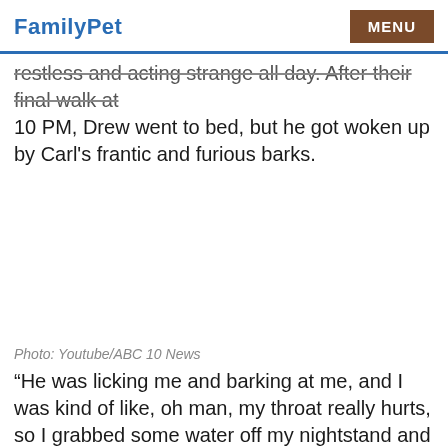FamilyPet  MENU
restless and acting strange all day. After their final walk at 10 PM, Drew went to bed, but he got woken up by Carl's frantic and furious barks.
[Figure (photo): Empty white image area (photo placeholder)]
Photo: Youtube/ABC 10 News
“He was licking me and barking at me, and I was kind of like, oh man, my throat really hurts, so I grabbed some water off my nightstand and took a drink,” Drew shares in